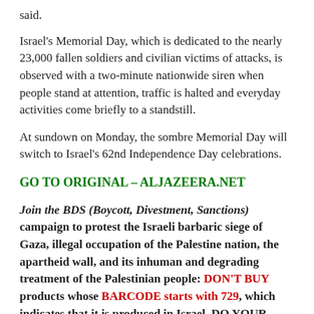said.
Israel's Memorial Day, which is dedicated to the nearly 23,000 fallen soldiers and civilian victims of attacks, is observed with a two-minute nationwide siren when people stand at attention, traffic is halted and everyday activities come briefly to a standstill.
At sundown on Monday, the sombre Memorial Day will switch to Israel's 62nd Independence Day celebrations.
GO TO ORIGINAL – ALJAZEERA.NET
Join the BDS (Boycott, Divestment, Sanctions) campaign to protest the Israeli barbaric siege of Gaza, illegal occupation of the Palestine nation, the apartheid wall, and its inhuman and degrading treatment of the Palestinian people: DON'T BUY products whose BARCODE starts with 729, which indicates that it is produced in Israel. DO YOUR PART! MAKE A DIFFERENCE!  7 2 9: BOYCOTT!